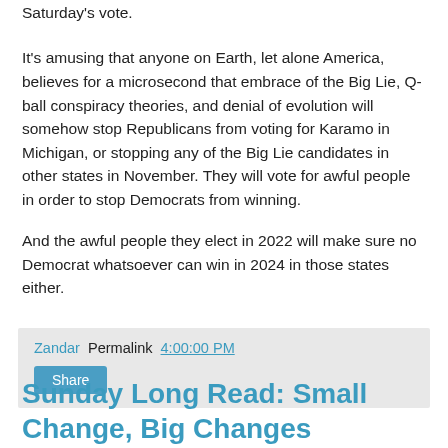Saturday's vote.
It's amusing that anyone on Earth, let alone America, believes for a microsecond that embrace of the Big Lie, Q-ball conspiracy theories, and denial of evolution will somehow stop Republicans from voting for Karamo in Michigan, or stopping any of the Big Lie candidates in other states in November. They will vote for awful people in order to stop Democrats from winning.
And the awful people they elect in 2022 will make sure no Democrat whatsoever can win in 2024 in those states either.
Zandar Permalink 4:00:00 PM
Share
Sunday Long Read: Small Change, Big Changes